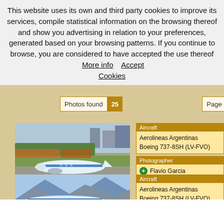This website uses its own and third party cookies to improve its services, compile statistical information on the browsing thereof and show you advertising in relation to your preferences, generated based on your browsing patterns. If you continue to browse, you are considered to have accepted the use thereof  More info     Accept Cookies
Photos found 25
Page 1 of
[Figure (photo): Aerolineas Argentinas Boeing 737-8SH aircraft on runway, 18 views]
Aircraft
Aerolineas Argentinas
Boeing 737-8SH (LV-FVO)
Photographer
Flavio Garcia
[Figure (photo): Aerolineas Argentinas Boeing 737-8SH aircraft, partial view]
Aircraft
Aerolineas Argentinas
Boeing 737-8SH (LV-FVO)